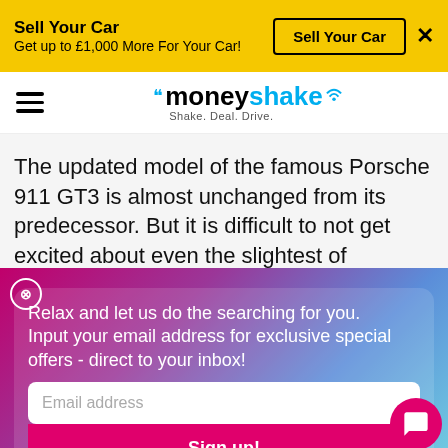[Figure (screenshot): Yellow advertisement banner: 'Sell Your Car - Get up to £1,000 More For Your Car!' with a 'Sell Your Car' button and close X]
[Figure (logo): Moneyshake logo with hamburger menu icon. Logo reads 'moneyshake' with tagline 'Shake. Deal. Drive.']
The updated model of the famous Porsche 911 GT3 is almost unchanged from its predecessor. But it is difficult to not get excited about even the slightest of changes to one of the greatest
[Figure (screenshot): Email sign-up popup with gradient background (pink to blue). Text: 'Relax and let us do the searching for you. Input your email address for exclusive special offers - direct to your inbox!' with an Email address input field and a Sign up! button. A pink chat bubble icon appears at bottom right.]